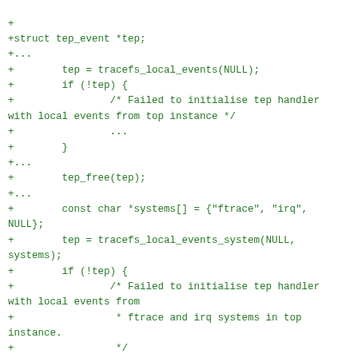+
+struct tep_event *tep;
+...
+        tep = tracefs_local_events(NULL);
+        if (!tep) {
+                /* Failed to initialise tep handler with local events from top instance */
+                ...
+        }
+...
+        tep_free(tep);
+...
+        const char *systems[] = {"ftrace", "irq", NULL};
+        tep = tracefs_local_events_system(NULL, systems);
+        if (!tep) {
+                /* Failed to initialise tep handler with local events from
+                 * ftrace and irq systems in top instance.
+                 */
+                ...
+        }
+...
+        tep_free(tep);
+...
+        int parsing_failures;
+        tep = tep_alloc();
+        if (!tep) {